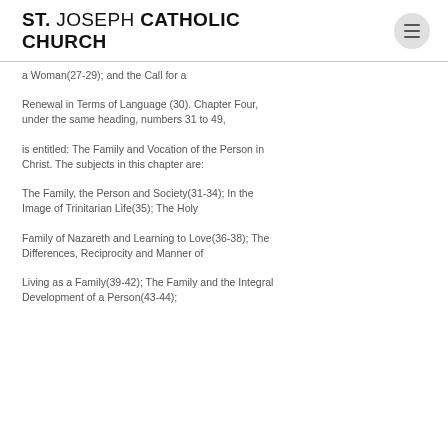ST. JOSEPH CATHOLIC CHURCH
a Woman(27-29); and the Call for a
Renewal in Terms of Language (30). Chapter Four, under the same heading, numbers 31 to 49,
is entitled: The Family and Vocation of the Person in Christ. The subjects in this chapter are:
The Family, the Person and Society(31-34); In the Image of Trinitarian Life(35); The Holy
Family of Nazareth and Learning to Love(36-38); The Differences, Reciprocity and Manner of
Living as a Family(39-42); The Family and the Integral Development of a Person(43-44);